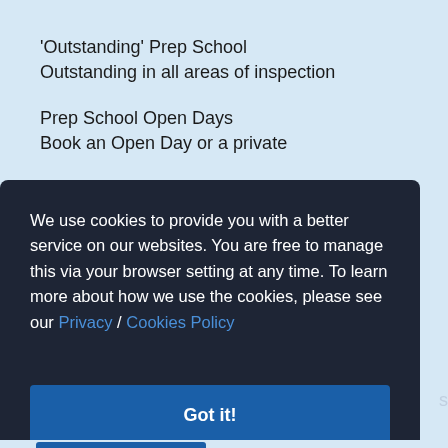'Outstanding' Prep School
Outstanding in all areas of inspection
Prep School Open Days
Book an Open Day or a private
We use cookies to provide you with a better service on our websites. You are free to manage this via your browser setting at any time. To learn more about how we use the cookies, please see our Privacy / Cookies Policy
Got it!